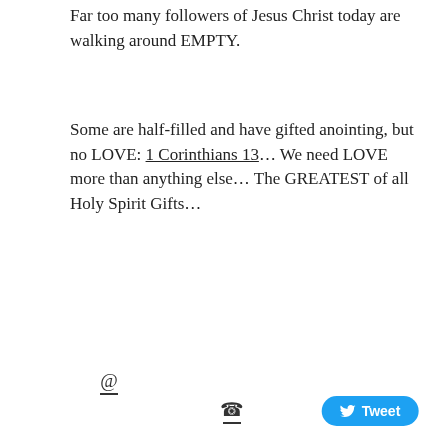Far too many followers of Jesus Christ today are walking around EMPTY.
Some are half-filled and have gifted anointing, but no LOVE: 1 Corinthians 13… We need LOVE more than anything else… The GREATEST of all Holy Spirit Gifts…
@
Tweet
3RD JANUARY 2017
New Year 2017 Getting The Father's Heart
[Figure (illustration): Blog post thumbnail image with purple background, 'Daily Spirit & Word' title in gold, subtitle 'Rev Donald Davis, St Luke's Church, West Norwood, London', a person's photo in top right corner, colorful lights at bottom, and partial text 'The Father's' in italic white on right side.]